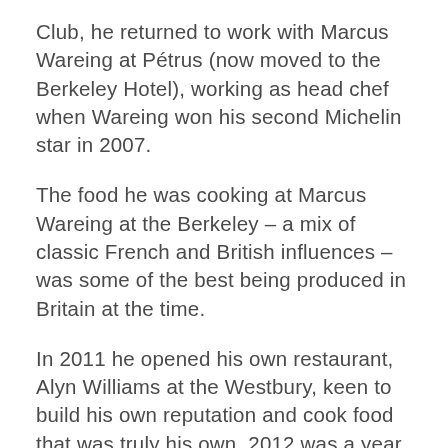Club, he returned to work with Marcus Wareing at Pétrus (now moved to the Berkeley Hotel), working as head chef when Wareing won his second Michelin star in 2007.
The food he was cooking at Marcus Wareing at the Berkeley – a mix of classic French and British influences – was some of the best being produced in Britain at the time.
In 2011 he opened his own restaurant, Alyn Williams at the Westbury, keen to build his own reputation and cook food that was truly his own. 2012 was a year of career highlights for Alyn Williams, winning a Michelin star after less than a year and scooping National Chef of the Year.